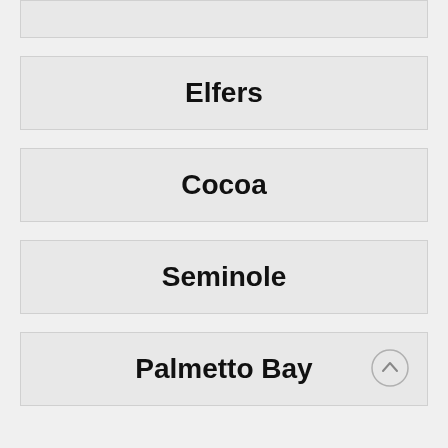Elfers
Cocoa
Seminole
Palmetto Bay